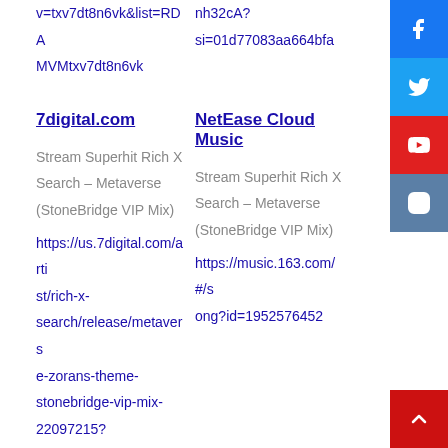v=txv7dt8n6vk&list=RDA MVMtxv7dt8n6vk
nh32cA? si=01d77083aa664bfa
7digital.com
Stream Superhit Rich X Search – Metaverse (StoneBridge VIP Mix) https://us.7digital.com/artist/rich-x-search/release/metaverse-zorans-theme-stonebridge-vip-mix-22097215?h=01&f=20,19,12,16,17,9,2
NetEase Cloud Music
Stream Superhit Rich X Search – Metaverse (StoneBridge VIP Mix) https://music.163.com/#/song?id=1952576452